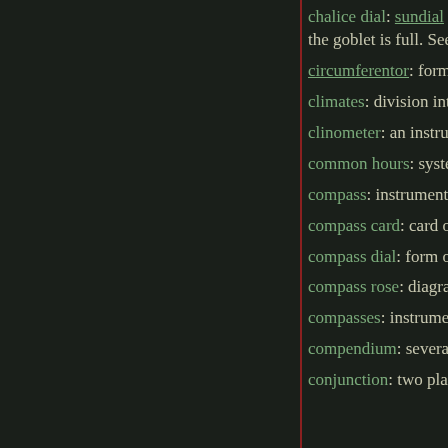chalice dial: sundial where the hour lines are inscribed on the surface of a goblet. A second set of lines can be inscribed for refraction, when the goblet is full. See also scaph
circumferentor: form of surveying compass with bearings are read from the position of a magnetic on the theodolite.
climates: division into latitude zones of the part of ancient geographers, used by Ptolemy.
clinometer: an instrument for measuring inclination
common hours: system of hour reckoning, see ar
compass: instrument indicating directions by a m on compass.
compass card: card or paper with a printed, draw rose, usually carried above the magnetic needle c
compass dial: form of azimuth dial.
compass rose: diagram of the points of the compass coloured. North is usually indicated by a fleur-de
compasses: instrument for drawing circles. see ar instruments.
compendium: several instruments compiled into article on astronomical compendium.
conjunction: two planets having the same positi